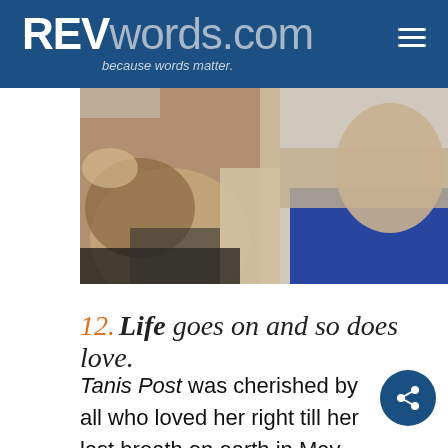REVwords.com — because words matter.
[Figure (photo): Close-up photo of two people's hands, one giving a thumbs-up gesture, the other holding it. Person on left wearing bracelets, person on right in a blue top and grey cardigan.]
12. Life goes on and so does love.
Tanis Post was cherished by all who loved her right till her last breath on earth in May. After fighting back from multiple life-threatening